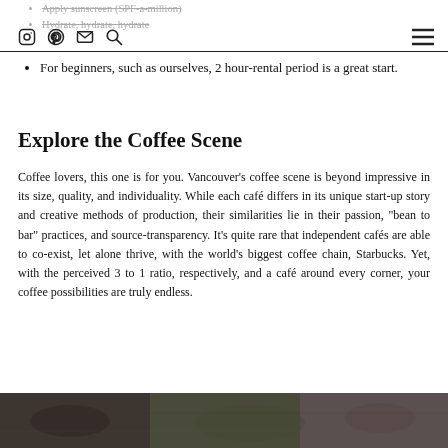Apply sunscreen (SPF-a-million) | Hydrate, hydrate, hydrate [icons: instagram, pinterest, email, search, menu]
For beginners, such as ourselves, 2 hour-rental period is a great start.
Explore the Coffee Scene
Coffee lovers, this one is for you. Vancouver's coffee scene is beyond impressive in its size, quality, and individuality. While each café differs in its unique start-up story and creative methods of production, their similarities lie in their passion, "bean to bar" practices, and source-transparency. It's quite rare that independent cafés are able to co-exist, let alone thrive, with the world's biggest coffee chain, Starbucks. Yet, with the perceived 3 to 1 ratio, respectively, and a café around every corner, your coffee possibilities are truly endless.
[Figure (photo): Photo strip at the bottom of the page showing a coffee-related scene]